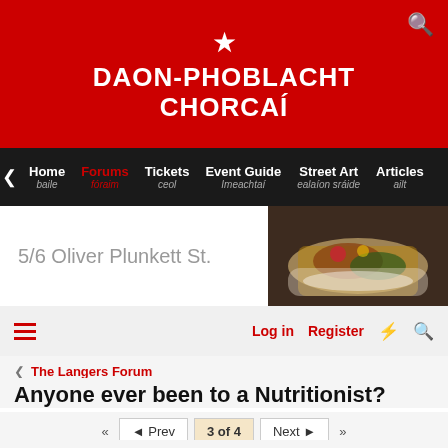DAON-PHOBLACHT CHORCAÍ
[Figure (screenshot): Navigation bar with Home (baile), Forums (fóraim), Tickets (ceol), Event Guide (Imeachtaí), Street Art (ealaíon sráide), Articles (ailt)]
[Figure (photo): Advertisement banner: 5/6 Oliver Plunkett St. with food photo on right]
[Figure (screenshot): Forum toolbar with hamburger menu, Log in, Register, lightning bolt, and search icons]
The Langers Forum
Anyone ever been to a Nutritionist?
3 of 4
Prev
Next